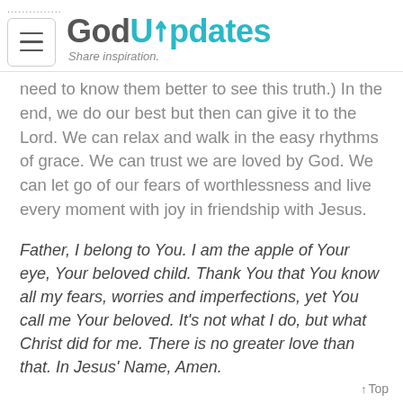GodUpdates — Share inspiration.
need to know them better to see this truth.) In the end, we do our best but then can give it to the Lord. We can relax and walk in the easy rhythms of grace. We can trust we are loved by God. We can let go of our fears of worthlessness and live every moment with joy in friendship with Jesus.
Father, I belong to You. I am the apple of Your eye, Your beloved child. Thank You that You know all my fears, worries and imperfections, yet You call me Your beloved. It's not what I do, but what Christ did for me. There is no greater love than that. In Jesus' Name, Amen.
↑ Top